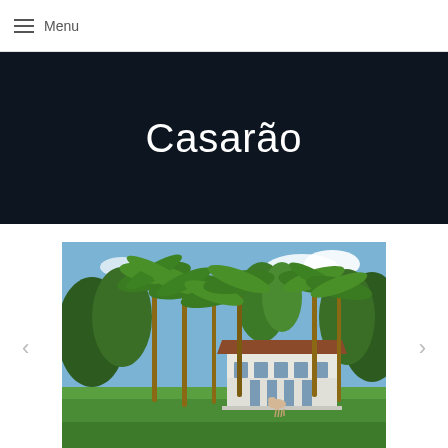≡ Menu
Home » Catuçaba » Casarão
Casarão
[Figure (photo): Exterior view of a historic colonial white house (Casarão) surrounded by tall royal palm trees and lush greenery under a bright blue sky. A horse is visible on the lawn in front of the building.]